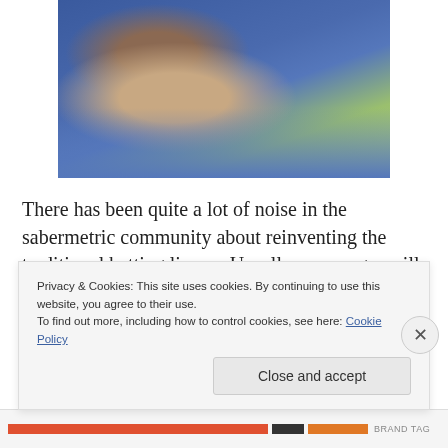[Figure (photo): A baseball manager or coach wearing a blue cap and blue uniform, shown in profile view against a green background.]
There has been quite a lot of noise in the sabermetric community about reinventing the traditional batting lineup. Usually, a manager will put the fastest guy first, a good sacrifice guy second and then the big and best hitters three and four, with the primary goal to manufacture runs
Privacy & Cookies: This site uses cookies. By continuing to use this website, you agree to their use.
To find out more, including how to control cookies, see here: Cookie Policy
Close and accept